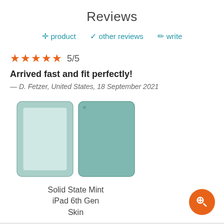Reviews
product  other reviews  write
5/5
Arrived fast and fit perfectly!
— D. Fetzer, United States, 18 September 2021
[Figure (photo): Product image showing Solid State Mint iPad 6th Gen Skin - front and back views of a mint/teal colored iPad skin]
Solid State Mint iPad 6th Gen Skin
5/5